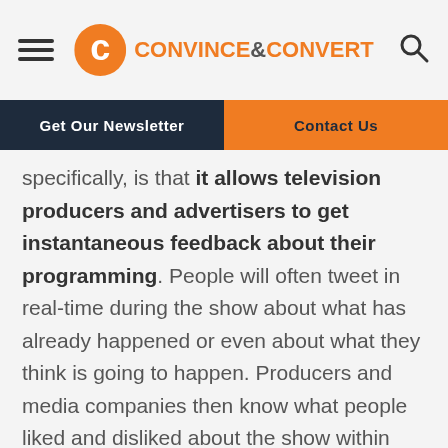Convince & Convert
Get Our Newsletter | Contact Us
specifically, is that it allows television producers and advertisers to get instantaneous feedback about their programming. People will often tweet in real-time during the show about what has already happened or even about what they think is going to happen. Producers and media companies then know what people liked and disliked about the show within minutes rather than waiting hours and days to write about it.
Second, Twitter is conversational and more open to national debate, especially while a show is